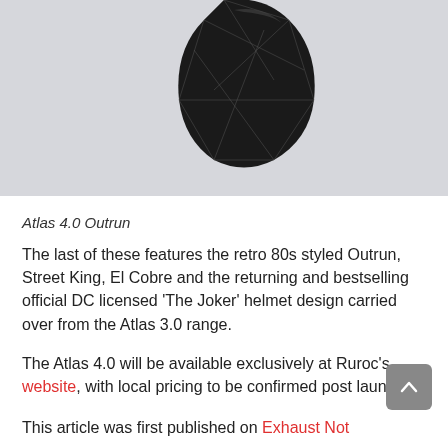[Figure (photo): Partial view of a dark motorcycle helmet (Atlas 4.0) with geometric line pattern design on a light gray background, only the top portion visible]
Atlas 4.0 Outrun
The last of these features the retro 80s styled Outrun, Street King, El Cobre and the returning and bestselling official DC licensed ‘The Joker’ helmet design carried over from the Atlas 3.0 range.
The Atlas 4.0 will be available exclusively at Ruroc’s website, with local pricing to be confirmed post launch.
This article was first published on Exhaust Note...